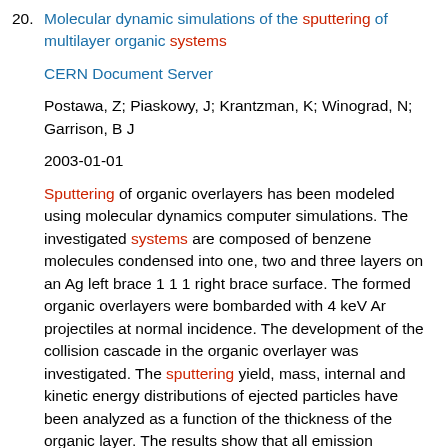20. Molecular dynamic simulations of the sputtering of multilayer organic systems
CERN Document Server
Postawa, Z; Piaskowy, J; Krantzman, K; Winograd, N; Garrison, B J
2003-01-01
Sputtering of organic overlayers has been modeled using molecular dynamics computer simulations. The investigated systems are composed of benzene molecules condensed into one, two and three layers on an Ag left brace 1 1 1 right brace surface. The formed organic overlayers were bombarded with 4 keV Ar projectiles at normal incidence. The development of the collision cascade in the organic overlayer was investigated. The sputtering yield, mass, internal and kinetic energy distributions of ejected particles have been analyzed as a function of the thickness of the organic layer. The results show that all emission characteristics are sensitive to the variation of layer thickness. Although most of the ejected intact benzene molecules originate from the topmost layer, the emission of particles located initially in second and third layers is significant.